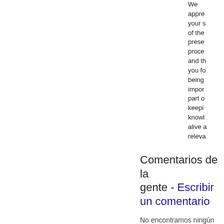We appreciate your sharing of the presentation process and the you for being an important part of keeping knowledge alive and relevant.
Comentarios de la gente - Escribir un comentario
No encontramos ningún